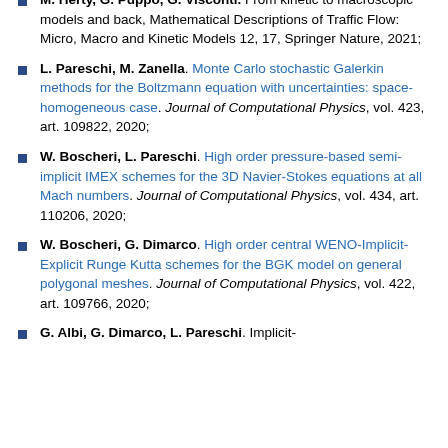M. Herty, G. Puppo, G. Visconti. From kinetic to macroscopic models and back, Mathematical Descriptions of Traffic Flow: Micro, Macro and Kinetic Models 12, 17, Springer Nature, 2021;
L. Pareschi, M. Zanella. Monte Carlo stochastic Galerkin methods for the Boltzmann equation with uncertainties: space-homogeneous case. Journal of Computational Physics, vol. 423, art. 109822, 2020;
W. Boscheri, L. Pareschi. High order pressure-based semi-implicit IMEX schemes for the 3D Navier-Stokes equations at all Mach numbers. Journal of Computational Physics, vol. 434, art. 110206, 2020;
W. Boscheri, G. Dimarco. High order central WENO-Implicit-Explicit Runge Kutta schemes for the BGK model on general polygonal meshes. Journal of Computational Physics, vol. 422, art. 109766, 2020;
G. Albi, G. Dimarco, L. Pareschi. Implicit-